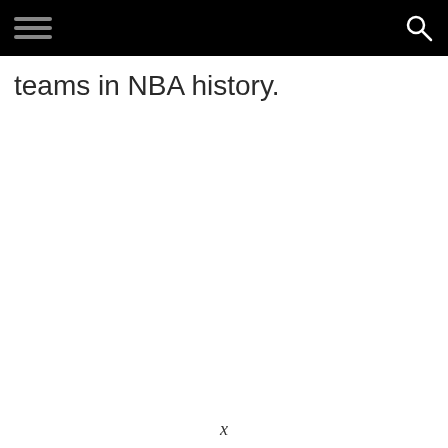[hamburger menu] [search icon]
teams in NBA history.
x